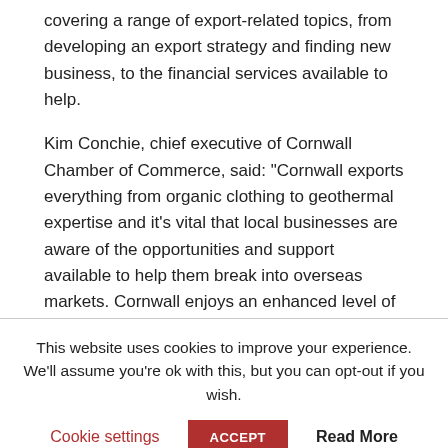covering a range of export-related topics, from developing an export strategy and finding new business, to the financial services available to help.
Kim Conchie, chief executive of Cornwall Chamber of Commerce, said: "Cornwall exports everything from organic clothing to geothermal expertise and it's vital that local businesses are aware of the opportunities and support available to help them break into overseas markets. Cornwall enjoys an enhanced level of export support thanks to Convergence and UKTI funding so we are urging our members to attend Exporting for Growth and find out more."
This website uses cookies to improve your experience. We'll assume you're ok with this, but you can opt-out if you wish.